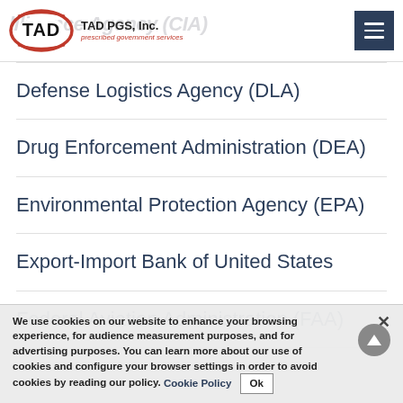TAD PGS, Inc. — prescribed government services
Defense Logistics Agency (DLA)
Drug Enforcement Administration (DEA)
Environmental Protection Agency (EPA)
Export-Import Bank of United States
Federal Aviation Administration (FAA)
We use cookies on our website to enhance your browsing experience, for audience measurement purposes, and for advertising purposes. You can learn more about our use of cookies and configure your browser settings in order to avoid cookies by reading our policy. Cookie Policy Ok